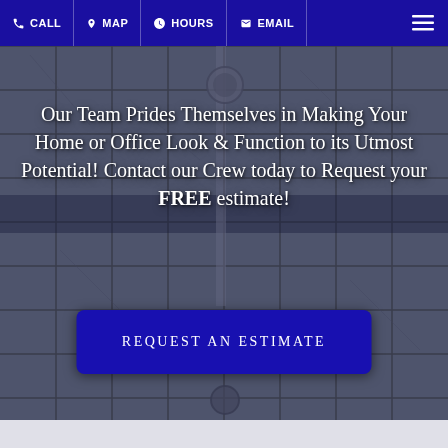CALL  MAP  HOURS  EMAIL
[Figure (screenshot): Background photo of a tiled bathroom shower with gray tiles, shower head and fixtures visible, darkened overlay]
Our Team Prides Themselves in Making Your Home or Office Look & Function to its Utmost Potential! Contact our Crew today to Request your FREE estimate!
REQUEST AN ESTIMATE